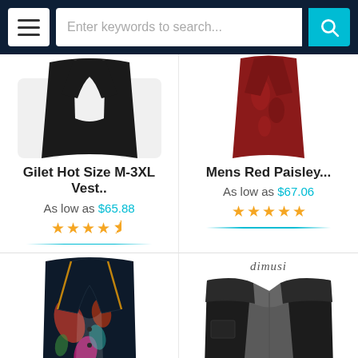Enter keywords to search...
[Figure (photo): Gilet/vest product photo - black vest with white shirt]
Gilet Hot Size M-3XL Vest..
As low as $65.88
[Figure (photo): Star rating: 4.5 out of 5 stars]
[Figure (photo): Mens Red Paisley vest product photo - dark red fabric]
Mens Red Paisley...
As low as $67.06
[Figure (photo): Star rating: 5 out of 5 stars]
[Figure (photo): Colorful paisley floral vest product photo]
[Figure (photo): Black fleece vest by dimusi brand - product photo]